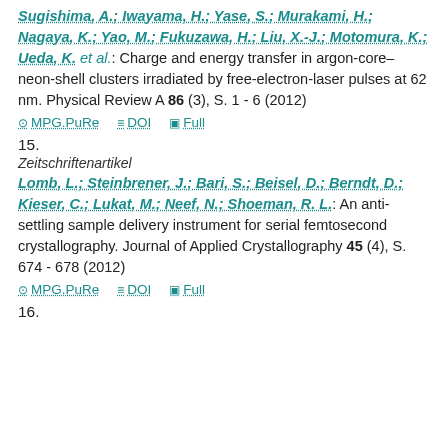Sugishima, A.; Iwayama, H.; Yase, S.; Murakami, H.; Nagaya, K.; Yao, M.; Fukuzawa, H.; Liu, X.-J.; Motomura, K.; Ueda, K. et al.: Charge and energy transfer in argon-core–neon-shell clusters irradiated by free-electron-laser pulses at 62 nm. Physical Review A 86 (3), S. 1 - 6 (2012)
MPG.PuRe   DOI   Full
15.
Zeitschriftenartikel
Lomb, L.; Steinbrener, J.; Bari, S.; Beisel, D.; Berndt, D.; Kieser, C.; Lukat, M.; Neef, N.; Shoeman, R. L.: An anti-settling sample delivery instrument for serial femtosecond crystallography. Journal of Applied Crystallography 45 (4), S. 674 - 678 (2012)
MPG.PuRe   DOI   Full
16.